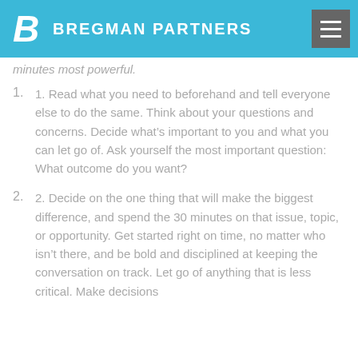BREGMAN PARTNERS
minutes most powerful.
1. Read what you need to beforehand and tell everyone else to do the same. Think about your questions and concerns. Decide what’s important to you and what you can let go of. Ask yourself the most important question: What outcome do you want?
2. Decide on the one thing that will make the biggest difference, and spend the 30 minutes on that issue, topic, or opportunity. Get started right on time, no matter who isn’t there, and be bold and disciplined at keeping the conversation on track. Let go of anything that is less critical. Make decisions